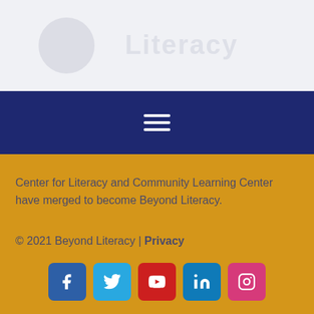[Figure (logo): Beyond Literacy logo watermark with circular emblem and text 'Beyond Literacy' on light gray background]
[Figure (other): Hamburger menu icon (three horizontal white lines) on dark navy blue background]
Center for Literacy and Community Learning Center have merged to become Beyond Literacy.
© 2021 Beyond Literacy | Privacy
[Figure (other): Social media icons row: Facebook, Twitter, YouTube, LinkedIn, Instagram]